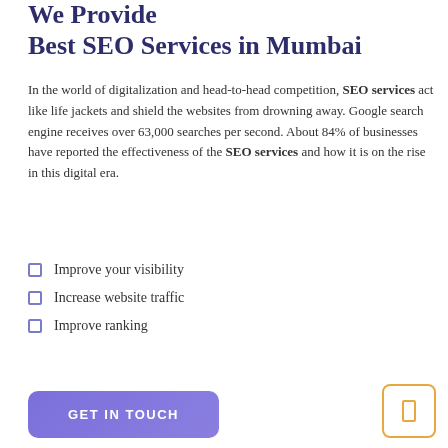We Provide Best SEO Services in Mumbai
In the world of digitalization and head-to-head competition, SEO services act like life jackets and shield the websites from drowning away. Google search engine receives over 63,000 searches per second. About 84% of businesses have reported the effectiveness of the SEO services and how it is on the rise in this digital era.
Improve your visibility
Increase website traffic
Improve ranking